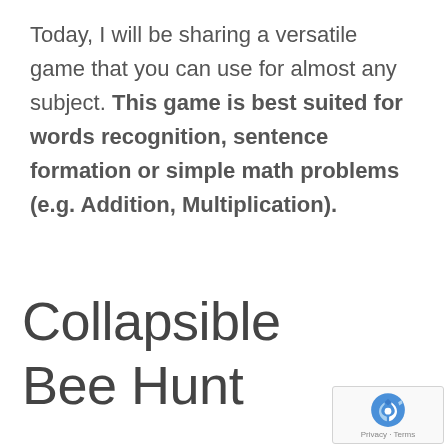Today, I will be sharing a versatile game that you can use for almost any subject. This game is best suited for words recognition, sentence formation or simple math problems (e.g. Addition, Multiplication).
Collapsible Bee Hunt